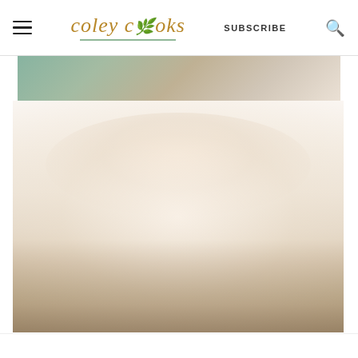coley cooks | SUBSCRIBE
[Figure (photo): Website screenshot of 'coley cooks' food blog showing header navigation with hamburger menu, logo, subscribe button, and search icon, followed by a partially visible food photograph below]
[Figure (photo): Faded/overexposed food photograph, appears to show a dish or food item with soft warm tones, mostly white/cream colored with subtle earth tones]